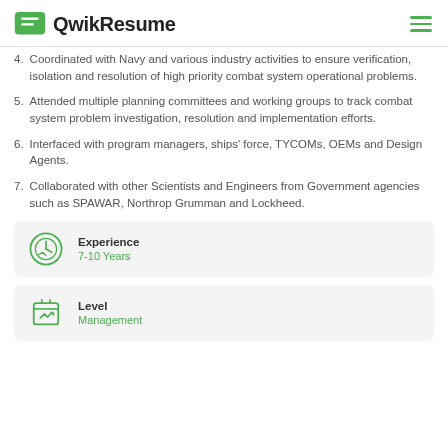QwikResume
Coordinated with Navy and various industry activities to ensure verification, isolation and resolution of high priority combat system operational problems.
Attended multiple planning committees and working groups to track combat system problem investigation, resolution and implementation efforts.
Interfaced with program managers, ships' force, TYCOMs, OEMs and Design Agents.
Collaborated with other Scientists and Engineers from Government agencies such as SPAWAR, Northrop Grumman and Lockheed.
Experience
7-10 Years
Level
Management